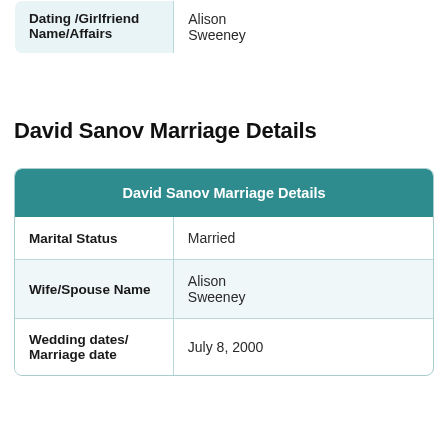| Dating /Girlfriend Name/Affairs |  |
| --- | --- |
| Dating /Girlfriend Name/Affairs | Alison Sweeney |
David Sanov Marriage Details
| David Sanov Marriage Details |
| --- |
| Marital Status | Married |
| Wife/Spouse Name | Alison Sweeney |
| Wedding dates/ Marriage date | July 8, 2000 |